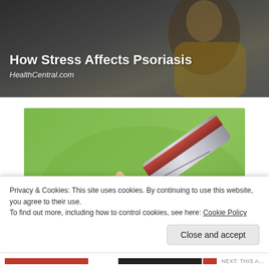[Figure (photo): Article banner image with dark background showing text overlay. Title 'How Stress Affects Psoriasis' in white bold text, subtitle 'HealthCentral.com' in white italic text below.]
How Stress Affects Psoriasis
HealthCentral.com
[Figure (photo): Close-up photo of a hand with palm open and another hand holding a tube of cream/ointment being applied to the palm, on a green background.]
Advertisements
Privacy & Cookies: This site uses cookies. By continuing to use this website, you agree to their use.
To find out more, including how to control cookies, see here: Cookie Policy
Close and accept